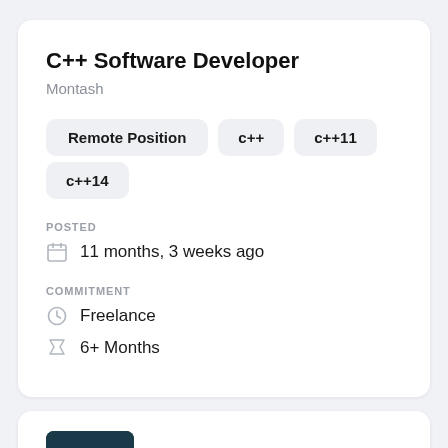C++ Software Developer
Montash
Remote Position
c++
c++11
c++14
POSTED
11 months, 3 weeks ago
COMMITMENT
Freelance
6+ Months
[Figure (screenshot): Bottom card with dark teal background image, partial view]